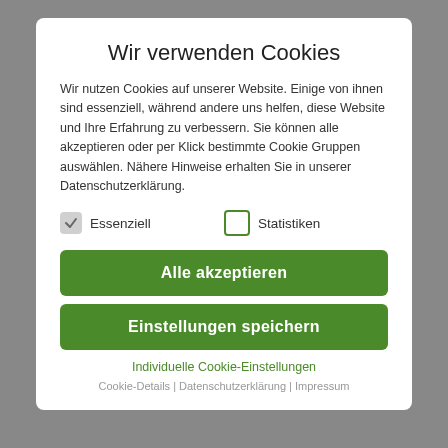Wir verwenden Cookies
Wir nutzen Cookies auf unserer Website. Einige von ihnen sind essenziell, während andere uns helfen, diese Website und Ihre Erfahrung zu verbessern. Sie können alle akzeptieren oder per Klick bestimmte Cookie Gruppen auswählen. Nähere Hinweise erhalten Sie in unserer Datenschutzerklärung.
Essenziell  Statistiken
Alle akzeptieren
Einstellungen speichern
Individuelle Cookie-Einstellungen
Cookie-Details | Datenschutzerklärung | Impressum